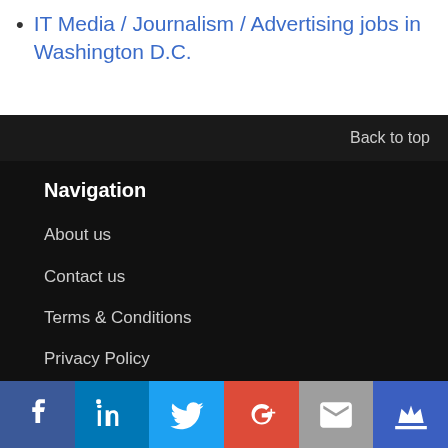IT Media / Journalism / Advertising jobs in Washington D.C.
Back to top
Navigation
About us
Contact us
Terms & Conditions
Privacy Policy
Do Not Sell My Info
[Figure (infographic): Social media share buttons: Facebook, LinkedIn, Twitter, Google+, Email, Crown/bookmark icon]